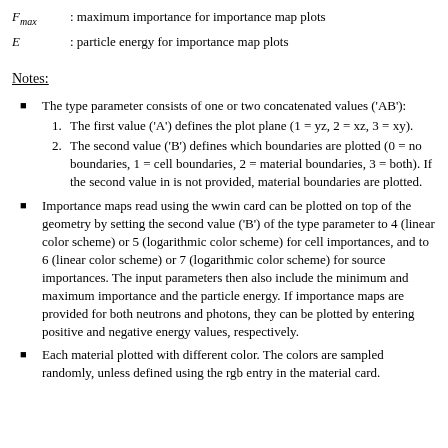F_max : maximum importance for importance map plots
E : particle energy for importance map plots
Notes:
The type parameter consists of one or two concatenated values ('AB'):
1. The first value ('A') defines the plot plane (1 = yz, 2 = xz, 3 = xy).
2. The second value ('B') defines which boundaries are plotted (0 = no boundaries, 1 = cell boundaries, 2 = material boundaries, 3 = both). If the second value in is not provided, material boundaries are plotted.
Importance maps read using the wwin card can be plotted on top of the geometry by setting the second value ('B') of the type parameter to 4 (linear color scheme) or 5 (logarithmic color scheme) for cell importances, and to 6 (linear color scheme) or 7 (logarithmic color scheme) for source importances. The input parameters then also include the minimum and maximum importance and the particle energy. If importance maps are provided for both neutrons and photons, they can be plotted by entering positive and negative energy values, respectively.
Each material plotted with different color. The colors are sampled randomly, unless defined using the rgb entry in the material card.